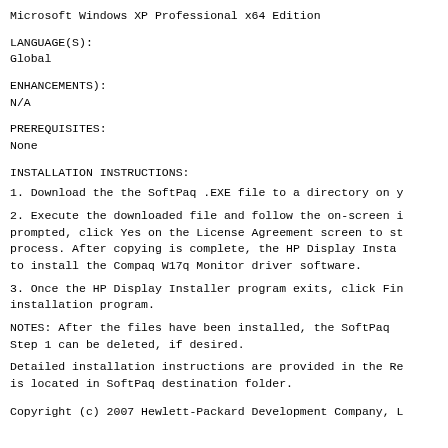Microsoft Windows XP Professional x64 Edition
LANGUAGE(S):
Global
ENHANCEMENTS:
N/A
PREREQUISITES:
None
INSTALLATION INSTRUCTIONS:
1. Download the the SoftPaq .EXE file to a directory on y
2. Execute the downloaded file and follow the on-screen i prompted, click Yes on the License Agreement screen to st process. After copying is complete, the HP Display Insta to install the Compaq W17q Monitor driver software.
3. Once the HP Display Installer program exits, click Fin installation program.
NOTES: After the files have been installed, the SoftPaq Step 1 can be deleted, if desired.
Detailed installation instructions are provided in the Re is located in SoftPaq destination folder.
Copyright (c) 2007 Hewlett-Packard Development Company, L